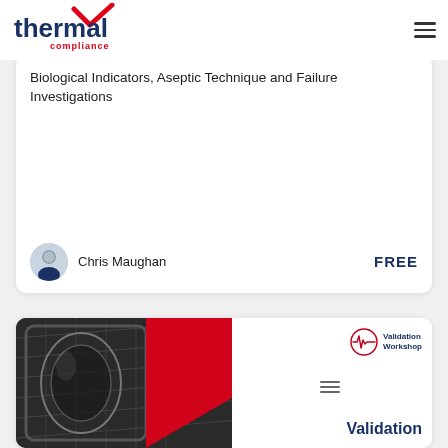[Figure (logo): Thermal Compliance logo with checkmark and red 'compliance' text]
Biological Indicators, Aseptic Technique and Failure Investigations
Chris Maughan
FREE
[Figure (photo): Validation Workshop card showing autoclave chamber photo with red diagonal stripe and 'Validation Workshop' badge and title text]